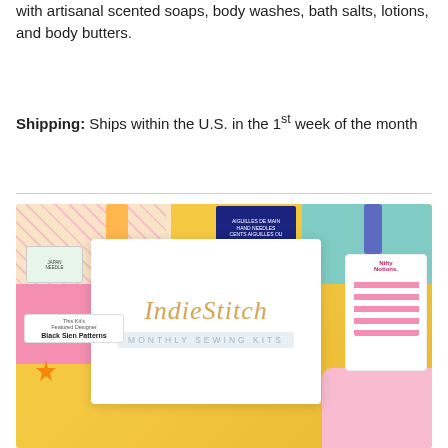with artisanal scented soaps, body washes, bath salts, lotions, and body butters.
Shipping: Ships within the U.S. in the 1st week of the month
[Figure (photo): IndieStitch Monthly Sewing Kits box surrounded by colorful sewing supplies including floral fabric, thread spools, needles, and sewing accessories on a yellow background]